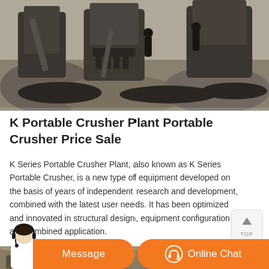[Figure (photo): Aerial/ground view of heavy rock crushing machinery and drill equipment on rocky terrain with workers in background]
K Portable Crusher Plant Portable Crusher Price Sale
K Series Portable Crusher Plant, also known as K Series Portable Crusher, is a new type of equipment developed on the basis of years of independent research and development, combined with the latest user needs. It has been optimized and innovated in structural design, equipment configuration and combined application.
[Figure (photo): Aerial view of an open-pit quarry/mine with vehicles and crushing equipment on dusty terrain, mountain backdrop]
Message
Online Chat